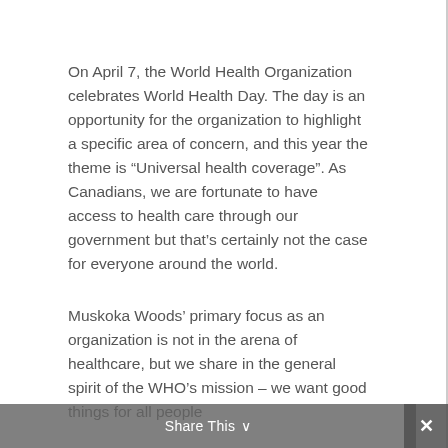On April 7, the World Health Organization celebrates World Health Day. The day is an opportunity for the organization to highlight a specific area of concern, and this year the theme is “Universal health coverage”. As Canadians, we are fortunate to have access to health care through our government but that’s certainly not the case for everyone around the world.
Muskoka Woods’ primary focus as an organization is not in the arena of healthcare, but we share in the general spirit of the WHO’s mission – we want good things for all people
Share This ∨